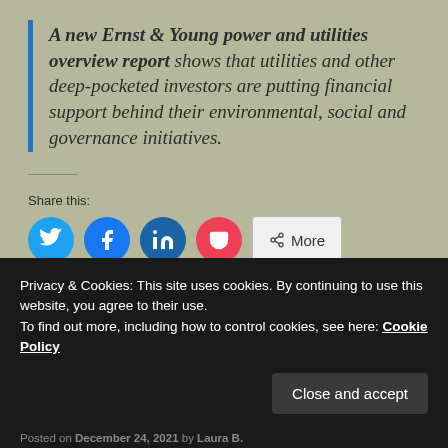A new Ernst & Young power and utilities overview report shows that utilities and other deep-pocketed investors are putting financial support behind their environmental, social and governance initiatives.
Share this:
Privacy & Cookies: This site uses cookies. By continuing to use this website, you agree to their use. To find out more, including how to control cookies, see here: Cookie Policy
Close and accept
Posted on December 24, 2021 by Laura B.